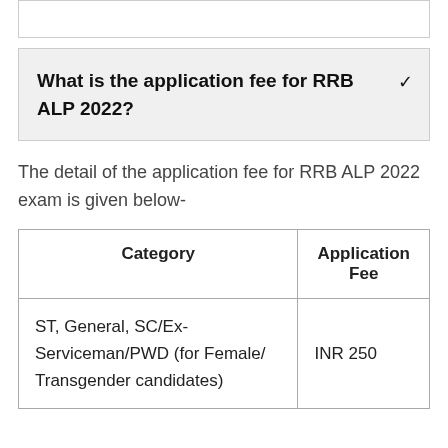What is the application fee for RRB ALP 2022?
The detail of the application fee for RRB ALP 2022 exam is given below-
| Category | Application Fee |
| --- | --- |
| ST, General, SC/Ex-Serviceman/PWD (for Female/ Transgender candidates) | INR 250 |